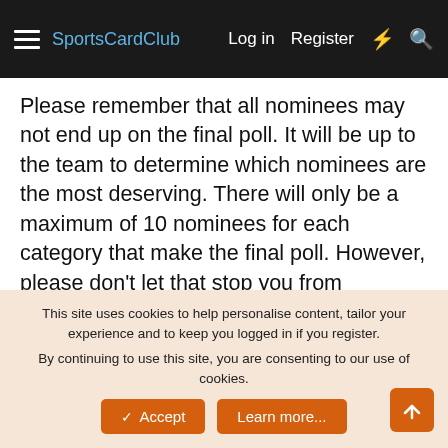SportsCardClub  Log in  Register
Please remember that all nominees may not end up on the final poll. It will be up to the team to determine which nominees are the most deserving. There will only be a maximum of 10 nominees for each category that make the final poll. However, please don't let that stop you from nominating any members/posts/threads/cards that you feel like deserve the award.
Keep in mind that anything that happens during the month of December is also eligible for nomination.
The nomination process will last until at least January 1.
This site uses cookies to help personalise content, tailor your experience and to keep you logged in if you register.
By continuing to use this site, you are consenting to our use of cookies.